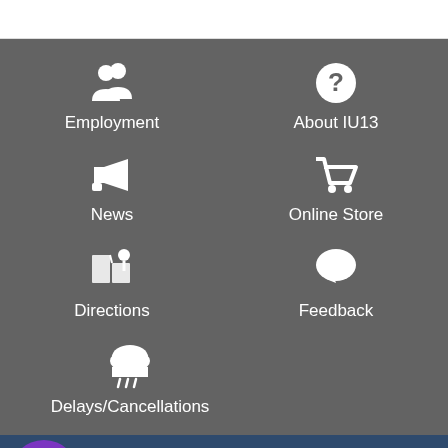[Figure (screenshot): Top white navigation bar area]
Employment
About IU13
News
Online Store
Directions
Feedback
Delays/Cancellations
Students & Families
Evaluating Children for Services